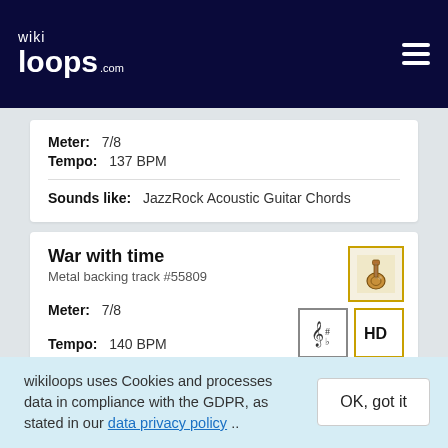wikiloops.com
Meter: 7/8
Tempo: 137 BPM
Sounds like: JazzRock Acoustic Guitar Chords
War with time
Metal backing track #55809
[Figure (illustration): Guitar icon with yellow border, sheet music icon, HD badge icon]
Meter: 7/8
Tempo: 140 BPM
wikiloops uses Cookies and processes data in compliance with the GDPR, as stated in our data privacy policy ..